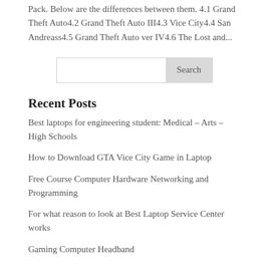Pack. Below are the differences between them. 4.1 Grand Theft Auto4.2 Grand Theft Auto III4.3 Vice City4.4 San Andreass4.5 Grand Theft Auto ver IV4.6 The Lost and...
Search
Recent Posts
Best laptops for engineering student: Medical – Arts – High Schools
How to Download GTA Vice City Game in Laptop
Free Course Computer Hardware Networking and Programming
For what reason to look at Best Laptop Service Center works
Gaming Computer Headband